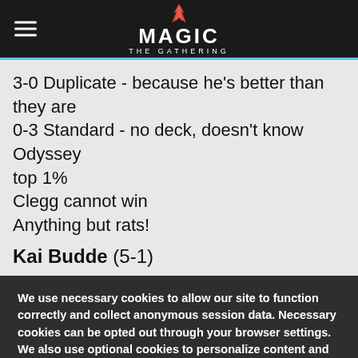Magic: The Gathering
3-0 Duplicate - because he's better than they are
0-3 Standard - no deck, doesn't know Odyssey
top 1%
Clegg cannot win
Anything but rats!
Kai Budde (5-1)
We use necessary cookies to allow our site to function correctly and collect anonymous session data. Necessary cookies can be opted out through your browser settings. We also use optional cookies to personalize content and ads, provide social medial features and analyze web traffic. By clicking "OK, I agree," you consent to optional cookies.
(Learn more about cookies.)
OK, I agree
No, thanks